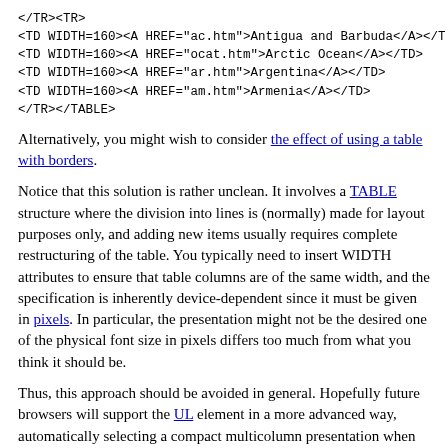</TR><TR>
<TD WIDTH=160><A HREF="ac.htm">Antigua and Barbuda</A></
<TD WIDTH=160><A HREF="ocat.htm">Arctic Ocean</A></TD>
<TD WIDTH=160><A HREF="ar.htm">Argentina</A></TD>
<TD WIDTH=160><A HREF="am.htm">Armenia</A></TD>
</TR></TABLE>
Alternatively, you might wish to consider the effect of using a table with borders.
Notice that this solution is rather unclean. It involves a TABLE structure where the division into lines is (normally) made for layout purposes only, and adding new items usually requires complete restructuring of the table. You typically need to insert WIDTH attributes to ensure that table columns are of the same width, and the specification is inherently device-dependent since it must be given in pixels. In particular, the presentation might not be the desired one of the physical font size in pixels differs too much from what you think it should be.
Thus, this approach should be avoided in general. Hopefully future browsers will support the UL element in a more advanced way, automatically selecting a compact multicolumn presentation when applicable, or at least support the DIR element in the intended way.
Table elements occupying several rows or columns